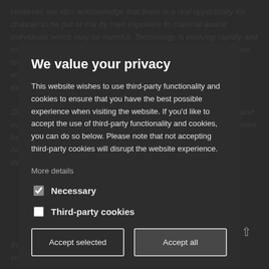However, we also acknowledge that there is a real opportunity for children to be put at risk by their exposure to material and/or individuals which may be harmful. Technology is evolving rapidly and increasingly difficult to keep up to date with.
We value your privacy
This website wishes to use third-party functionality and cookies to ensure that you have the best possible experience when visiting the website. If you'd like to accept the use of third-party functionality and cookies, you can do so below. Please note that not accepting third-party cookies will disrupt the website experience.
More details
Necessary
Third-party cookies
Accept selected
Accept all
In February 2005, we are drawing the attention of the schools community to internet safety. The campaign uses the tag-line